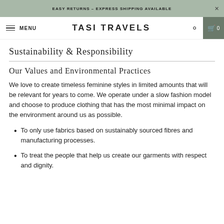EASY RETURNS - EXPRESS SHIPPING AVAILABLE
TASI TRAVELS  MENU  Search  Cart 0
Sustainability & Responsibility
Our Values and Environmental Practices
We love to create timeless feminine styles in limited amounts that will be relevant for years to come. We operate under a slow fashion model and choose to produce clothing that has the most minimal impact on the environment around us as possible.
To only use fabrics based on sustainably sourced fibres and manufacturing processes.
To treat the people that help us create our garments with respect and dignity.